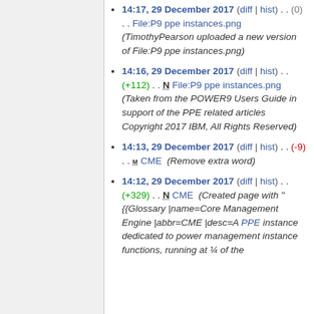14:17, 29 December 2017 (diff | hist) . . (0) . . File:P9 ppe instances.png (TimothyPearson uploaded a new version of File:P9 ppe instances.png)
14:16, 29 December 2017 (diff | hist) . . (+112) . . N File:P9 ppe instances.png (Taken from the POWER9 Users Guide in support of the PPE related articles Copyright 2017 IBM, All Rights Reserved)
14:13, 29 December 2017 (diff | hist) . . (-9) . . m CME (Remove extra word)
14:12, 29 December 2017 (diff | hist) . . (+329) . . N CME (Created page with "{{Glossary |name=Core Management Engine |abbr=CME |desc=A PPE instance dedicated to power management instance functions, running at ¼ of the